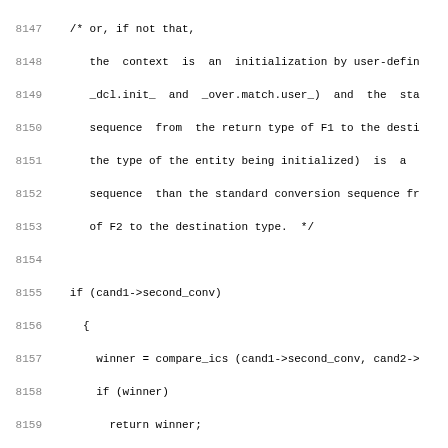Source code listing, lines 8147-8178, C++ overload resolution code